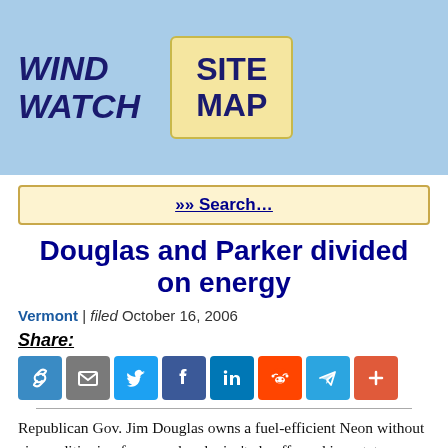WIND WATCH | SITE MAP
»» Search…
Douglas and Parker divided on energy
Vermont | filed October 16, 2006
Share:
[Figure (other): Row of social sharing icon buttons: link, email, Twitter, Facebook, LinkedIn, Reddit, Telegram, more (+)]
Republican Gov. Jim Douglas owns a fuel-efficient Neon without air conditioning for use when he isn't chauffeured in a state car.
Scudder Parker, the Democratic challenger in this year's gubernatorial race, drives a Toyota Prius on and off the